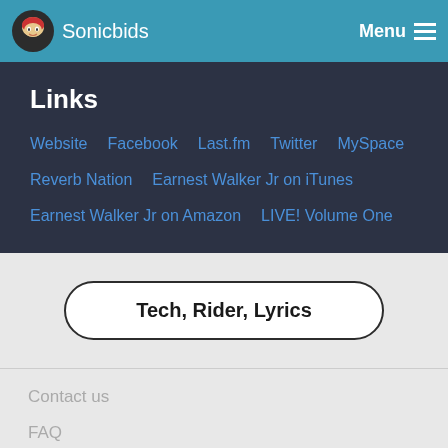Sonicbids  Menu
Links
Website   Facebook   Last.fm   Twitter   MySpace
Reverb Nation   Earnest Walker Jr on iTunes
Earnest Walker Jr on Amazon   LIVE! Volume One
Tech, Rider, Lyrics
Contact us
FAQ